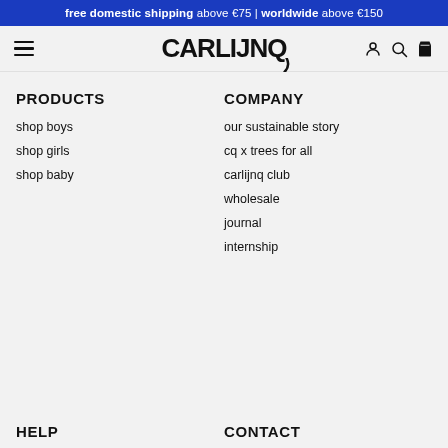free domestic shipping above €75 | worldwide above €150
[Figure (logo): CARLIJNQ brand logo with stylized Q tail, hamburger menu icon, user icon, search icon, and bag icon in navigation bar]
PRODUCTS
shop boys
shop girls
shop baby
COMPANY
our sustainable story
cq x trees for all
carlijnq club
wholesale
journal
internship
HELP
CONTACT